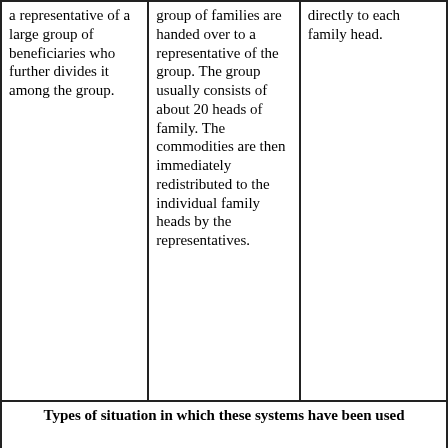| a representative of a large group of beneficiaries who further divides it among the group. | group of families are handed over to a representative of the group. The group usually consists of about 20 heads of family. The commodities are then immediately redistributed to the individual family heads by the representatives. | directly to each family head. |
| Types of situation in which these systems have been used |  |  |